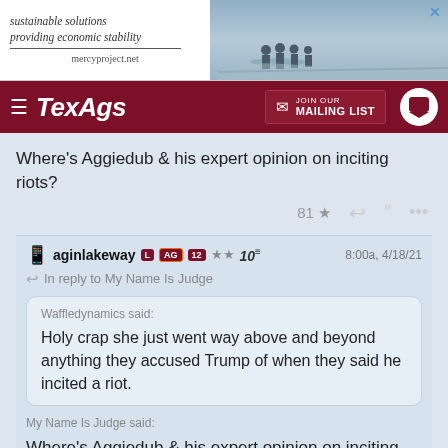[Figure (screenshot): Advertisement banner for mercyproject.net with text 'sustainable solutions providing economic stability' and a photo of people on a beach/water]
TexAgs | JOIN OUR MAILING LIST
Where's Aggiedub & his expert opinion on inciting riots?
81 ★ reply quote ...
aginlakeway L AG 12 ★★ 10  8:00a, 4/18/21
In reply to My Name Is Judge
Waffledynamics said: Holy crap she just went way above and beyond anything they accused Trump of when they said he incited a riot.
My Name Is Judge said:
Where's Aggiedub & his expert opinion on inciting riots?